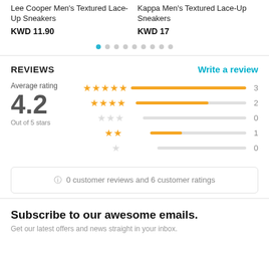Lee Cooper Men's Textured Lace-Up Sneakers
KWD 11.90
Kappa Men's Textured Lace-Up Sneakers
KWD 17
REVIEWS
Write a review
Average rating
4.2
Out of 5 stars
[Figure (bar-chart): Star rating distribution]
0 customer reviews and 6 customer ratings
Subscribe to our awesome emails.
Get our latest offers and news straight in your inbox.